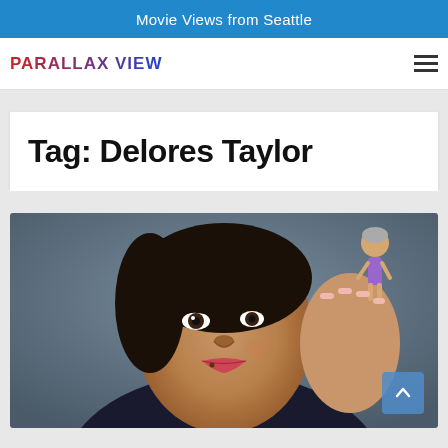Movie Views from Seattle
[Figure (logo): Parallax View logo in red-blue gradient text, bold uppercase, with hamburger menu icon on the right]
Tag: Delores Taylor
[Figure (photo): A woman holding a small doll/action figure up near her head, smiling playfully at the camera, with a blue scroll-to-top button overlay in bottom right corner]